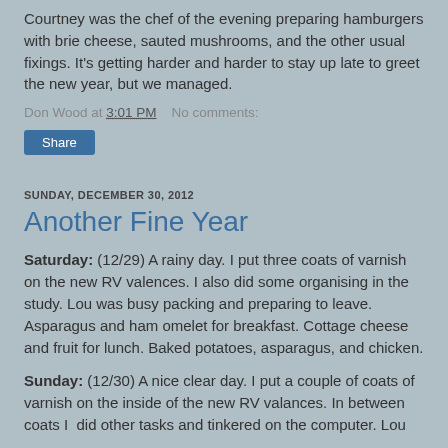Courtney was the chef of the evening preparing hamburgers with brie cheese, sauted mushrooms, and the other usual fixings. It's getting harder and harder to stay up late to greet the new year, but we managed.
Don Wood at 3:01 PM   No comments:
Share
SUNDAY, DECEMBER 30, 2012
Another Fine Year
Saturday: (12/29) A rainy day. I put three coats of varnish on the new RV valences. I also did some organising in the study. Lou was busy packing and preparing to leave. Asparagus and ham omelet for breakfast. Cottage cheese and fruit for lunch. Baked potatoes, asparagus, and chicken.
Sunday: (12/30) A nice clear day. I put a couple of coats of varnish on the inside of the new RV valances. In between coats I did other tasks and tinkered on the computer. Lou